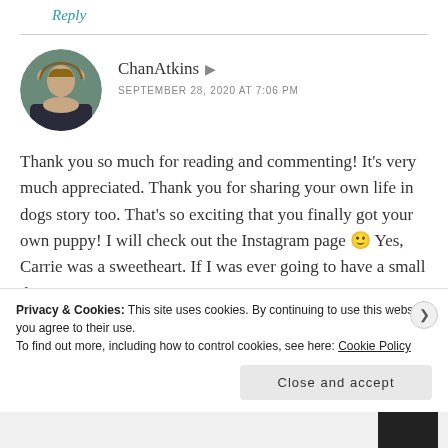Reply
ChanAtkins
SEPTEMBER 28, 2020 AT 7:06 PM
Thank you so much for reading and commenting! It's very much appreciated. Thank you for sharing your own life in dogs story too. That's so exciting that you finally got your own puppy! I will check out the Instagram page 🙂 Yes, Carrie was a sweetheart. If I was ever going to have a small dog
Privacy & Cookies: This site uses cookies. By continuing to use this website, you agree to their use.
To find out more, including how to control cookies, see here: Cookie Policy
Close and accept